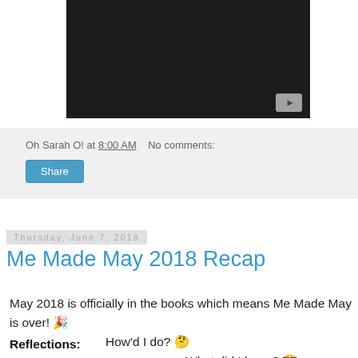[Figure (screenshot): Dark video player thumbnail with gray play button in bottom-right corner]
Oh Sarah O! at 8:00 AM   No comments:
Share
Thursday, June 7, 2018
Me Made May 2018 Recap
May 2018 is officially in the books which means Me Made May is over! 🎉

How'd I do? 🤔

What did I learn? 🤓

What did I make? 😎
Reflections: